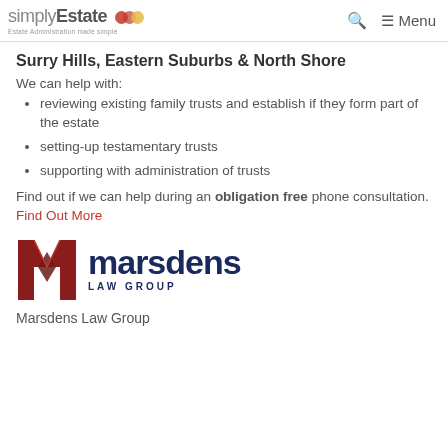simplyEstate Estate Administration made simple | Search | Menu
Surry Hills, Eastern Suburbs & North Shore
We can help with:
reviewing existing family trusts and establish if they form part of the estate
setting-up testamentary trusts
supporting with administration of trusts
Find out if we can help during an obligation free phone consultation. Find Out More
[Figure (logo): Marsdens Law Group logo with red angular M icon and dark navy text]
Marsdens Law Group